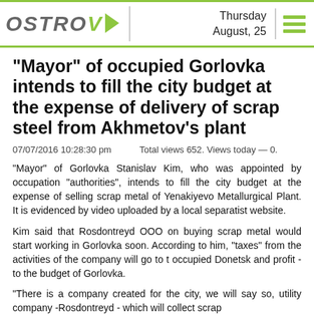OSTROV — Thursday August, 25
"Mayor" of occupied Gorlovka intends to fill the city budget at the expense of delivery of scrap steel from Akhmetov's plant
07/07/2016 10:28:30 pm   Total views 652. Views today — 0.
"Mayor" of Gorlovka Stanislav Kim, who was appointed by occupation "authorities", intends to fill the city budget at the expense of selling scrap metal of Yenakiyevo Metallurgical Plant. It is evidenced by video uploaded by a local separatist website.
Kim said that Rosdontreyd OOO on buying scrap metal would start working in Gorlovka soon. According to him, "taxes" from the activities of the company will go to t occupied Donetsk and profit - to the budget of Gorlovka.
"There is a company created for the city, we will say so, utility company -Rosdontreyd - which will collect scrap